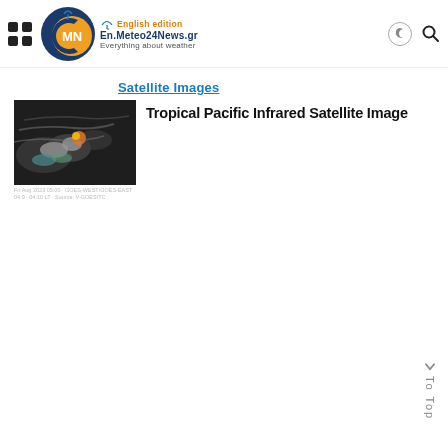En.Meteo24News.gr — Everything about weather
Satellite Images
[Figure (photo): Tropical Pacific infrared satellite image showing cloud formations and storm systems over the Pacific Ocean. The image is displayed in grayscale with color enhancement highlighting convective areas.]
Tropical Pacific Infrared Satellite Image
Satellite image timestamp and source information